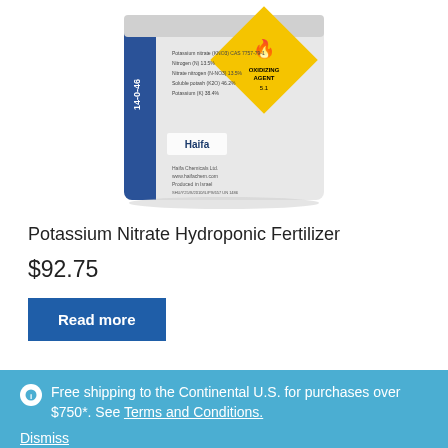[Figure (photo): Bag of Potassium Nitrate Hydroponic Fertilizer with Haifa brand logo and yellow oxidizing agent hazard diamond label]
Potassium Nitrate Hydroponic Fertilizer
$92.75
Read more
Free shipping to the Continental U.S. for purchases over $750*. See Terms and Conditions. Dismiss